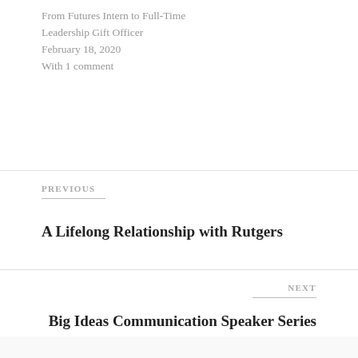From Futures Intern to Full-Time Leadership Gift Officer
February 18, 2020
With 1 comment
PREVIOUS
A Lifelong Relationship with Rutgers
NEXT
Big Ideas Communication Speaker Series